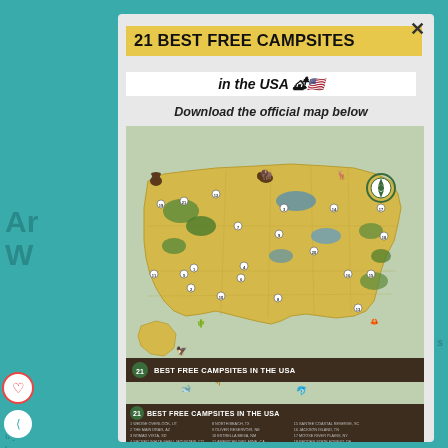21 BEST FREE CAMPSITES in the USA 🏕️🇺🇸
Download the official map below
[Figure (map): Illustrated map of the USA showing 21 numbered best free campsites locations across the country, with decorative illustrations of wildlife, trees, and camping scenes. Features a compass rose in the upper right area.]
21 BEST FREE CAMPSITES IN THE USA
1 WEDGE OVERLOOK, UT  2 THE MAIN DRAG, AZ  3 NOMAD VISTA, SD  4 SACRED WHITE SHELL MOUNTAIN, CO  5 NORTH CREEK, UT  6 JACKSON HOLE APERN ROAD, CO  7 LAKE HATTIE, WY  8 NORTH BEACH, TX  9 OLIVER RESERVOIR, NE  10 ESTRELLA MESA, NM  11 AMERICAN GIRL MINE, CA  12 BLANKS SHIP BRIDGE, MT  13 CYPRESS CREEK, FL  14 GREEN ROAD, HI  15 SANTEE COASTAL RESERVE, SC  16 JACKSON ISLAND, TN  17 MOOSE RIVER PLAINS, NY  18 REDDEN STATE FOREST, DE  19 SKULL CREEK, OR  20 WHITEOAK CAMPING AREA, MD  21 LAKE CREEK ROAD, ID